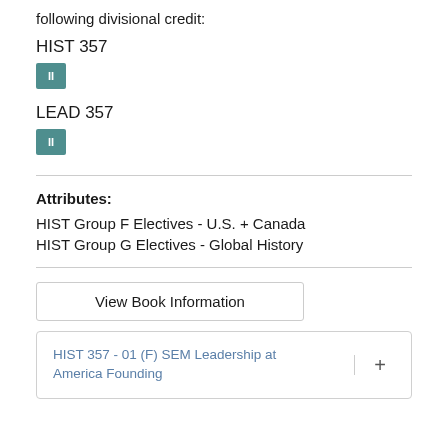following divisional credit:
HIST 357
[Figure (other): Teal badge with 'II' label]
LEAD 357
[Figure (other): Teal badge with 'II' label]
Attributes:
HIST Group F Electives - U.S. + Canada
HIST Group G Electives - Global History
View Book Information
HIST 357 - 01 (F) SEM Leadership at America Founding